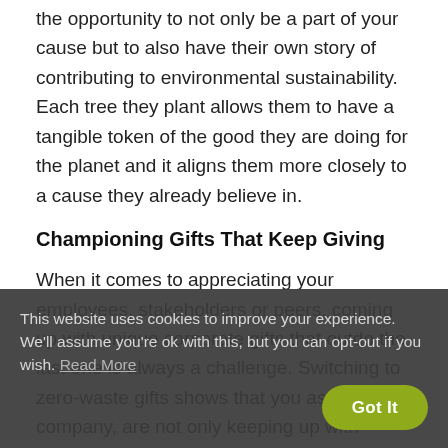the opportunity to not only be a part of your cause but to also have their own story of contributing to environmental sustainability. Each tree they plant allows them to have a tangible token of the good they are doing for the planet and it aligns them more closely to a cause they already believe in.
Championing Gifts That Keep Giving
When it comes to appreciating your employees, stakeholders or peers, coming up with unique corporate gifts that outdo the last one is always a challenge. Switching to zero-waste gifts shows that you as a company, are not only keeping up with trends and being creative but also that your gifts go beyond superficial
This website uses cookies to improve your experience. We'll assume you're ok with this, but you can opt-out if you wish. Read More